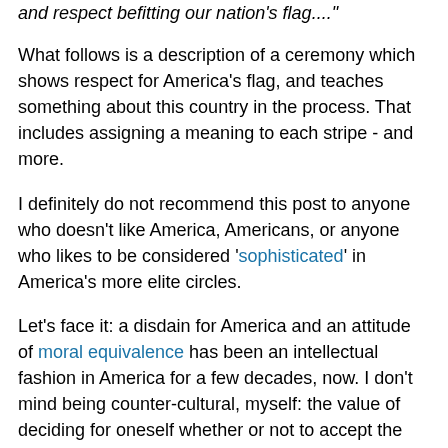and respect befitting our nation's flag...."
What follows is a description of a ceremony which shows respect for America's flag, and teaches something about this country in the process. That includes assigning a meaning to each stripe - and more.
I definitely do not recommend this post to anyone who doesn't like America, Americans, or anyone who likes to be considered 'sophisticated' in America's more elite circles.
Let's face it: a disdain for America and an attitude of moral equivalence has been an intellectual fashion in America for a few decades, now. I don't mind being counter-cultural, myself: the value of deciding for oneself whether or not to accept the dominant culture's standards is something I learned back in the sixties. And, as I've explained before: the Lemming is "apathetic:" I don't care about the right things, in the right way.
For people who don't become distressed when faced with showing respect for a nation's flag, I think this will be an